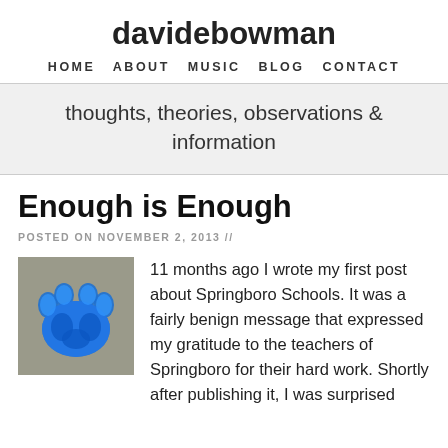davidebowman
HOME   ABOUT   MUSIC   BLOG   CONTACT
thoughts, theories, observations & information
Enough is Enough
POSTED ON NOVEMBER 2, 2013 //
[Figure (photo): Blue glowing paw print on a grey stone background]
11 months ago I wrote my first post about Springboro Schools.  It was a fairly benign message that expressed my gratitude to the teachers of Springboro for their hard work.  Shortly after publishing it, I was surprised